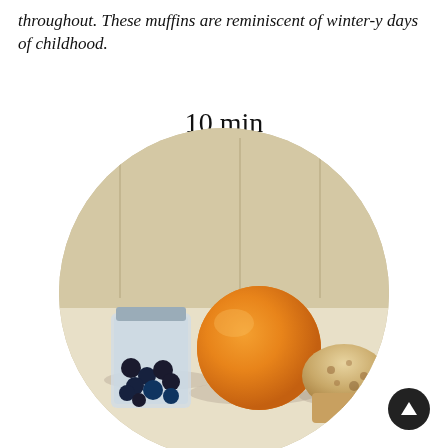throughout. These muffins are reminiscent of winter-y days of childhood.
10 min
Prep Time
20 min
Cook Time
30 min
Total Time
[Figure (photo): Circular cropped photo showing an orange, a jar with blueberries, and a muffin on a kitchen counter]